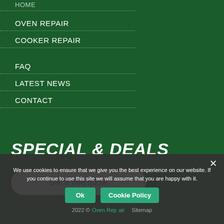HOME
OVEN REPAIR
COOKER REPAIR
FAQ
LATEST NEWS
CONTACT
SPECIAL & DEALS
Get a free quote
We use cookies to ensure that we give you the best experience on our website. If you continue to use this site we will assume that you are happy with it.
2022 © Oven Repair Sitemap